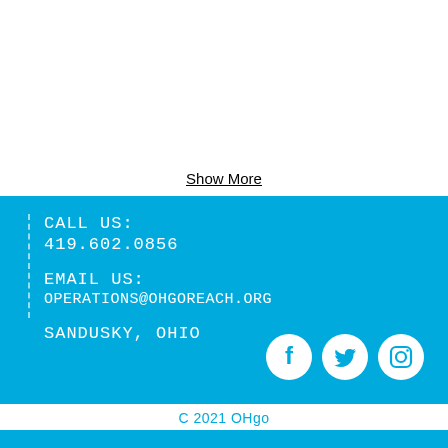Show More
Call us:
419.602.0856
Email us:
operations@ohgoreach.org
Sandusky, Ohio
[Figure (other): Social media icons: Facebook, Twitter, Instagram in white circles on blue background]
C 2021 OHgo